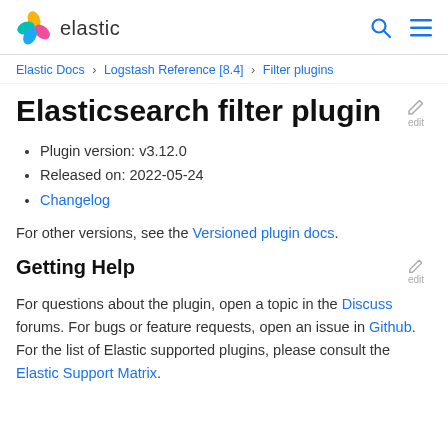elastic
Elastic Docs › Logstash Reference [8.4] › Filter plugins
Elasticsearch filter plugin
Plugin version: v3.12.0
Released on: 2022-05-24
Changelog
For other versions, see the Versioned plugin docs.
Getting Help
For questions about the plugin, open a topic in the Discuss forums. For bugs or feature requests, open an issue in Github. For the list of Elastic supported plugins, please consult the Elastic Support Matrix.